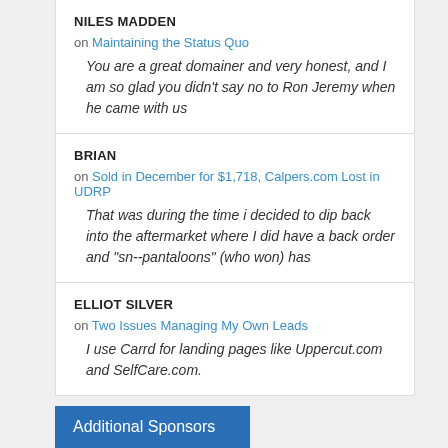NILES MADDEN
on Maintaining the Status Quo
You are a great domainer and very honest, and I am so glad you didn't say no to Ron Jeremy when he came with us
BRIAN
on Sold in December for $1,718, Calpers.com Lost in UDRP
That was during the time i decided to dip back into the aftermarket where I did have a back order and "sn--pantaloons" (who won) has
ELLIOT SILVER
on Two Issues Managing My Own Leads
I use Carrd for landing pages like Uppercut.com and SelfCare.com.
Additional Sponsors